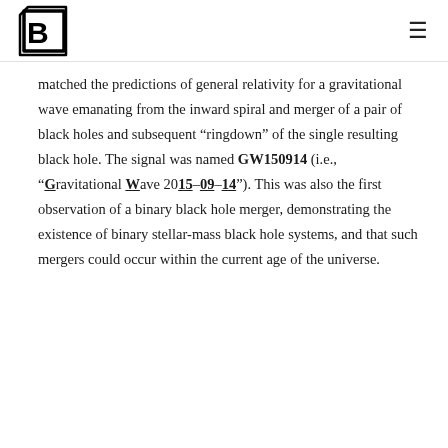[Logo: B3 icon] [Hamburger menu]
matched the predictions of general relativity for a gravitational wave emanating from the inward spiral and merger of a pair of black holes and subsequent “ringdown” of the single resulting black hole. The signal was named GW150914 (i.e., “Gravitational Wave 2015–09–14”). This was also the first observation of a binary black hole merger, demonstrating the existence of binary stellar-mass black hole systems, and that such mergers could occur within the current age of the universe.